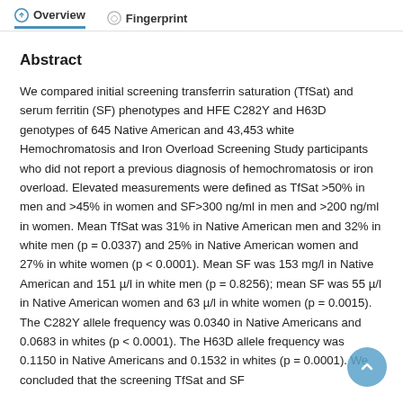Overview  Fingerprint
Abstract
We compared initial screening transferrin saturation (TfSat) and serum ferritin (SF) phenotypes and HFE C282Y and H63D genotypes of 645 Native American and 43,453 white Hemochromatosis and Iron Overload Screening Study participants who did not report a previous diagnosis of hemochromatosis or iron overload. Elevated measurements were defined as TfSat >50% in men and >45% in women and SF>300 ng/ml in men and >200 ng/ml in women. Mean TfSat was 31% in Native American men and 32% in white men (p = 0.0337) and 25% in Native American women and 27% in white women (p < 0.0001). Mean SF was 153 mg/l in Native American and 151 µ/l in white men (p = 0.8256); mean SF was 55 µ/l in Native American women and 63 µ/l in white women (p = 0.0015). The C282Y allele frequency was 0.0340 in Native Americans and 0.0683 in whites (p < 0.0001). The H63D allele frequency was 0.1150 in Native Americans and 0.1532 in whites (p = 0.0001). We concluded that the screening TfSat and SF